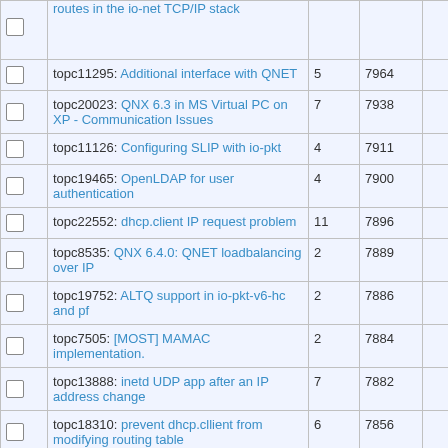|  | Topic | Replies | Views |  |
| --- | --- | --- | --- | --- |
|  | routes in the io-net TCP/IP stack |  |  |  |
|  | topc11295: Additional interface with QNET | 5 | 7964 |  |
|  | topc20023: QNX 6.3 in MS Virtual PC on XP - Communication Issues | 7 | 7938 |  |
|  | topc11126: Configuring SLIP with io-pkt | 4 | 7911 |  |
|  | topc19465: OpenLDAP for user authentication | 4 | 7900 |  |
|  | topc22552: dhcp.client IP request problem | 11 | 7896 |  |
|  | topc8535: QNX 6.4.0: QNET loadbalancing over IP | 2 | 7889 |  |
|  | topc19752: ALTQ support in io-pkt-v6-hc and pf | 2 | 7886 |  |
|  | topc7505: [MOST] MAMAC implementation. | 2 | 7884 |  |
|  | topc13888: inetd UDP app after an IP address change | 7 | 7882 |  |
|  | topc18310: prevent dhcp.cllient from modifying routing table | 6 | 7856 |  |